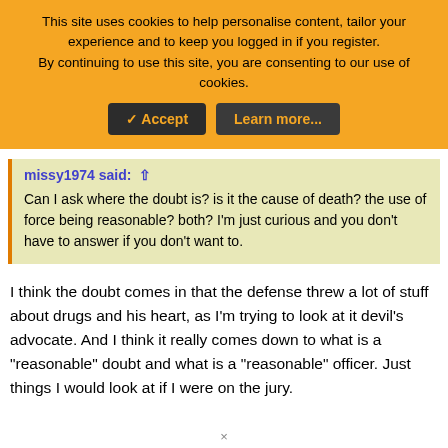This site uses cookies to help personalise content, tailor your experience and to keep you logged in if you register. By continuing to use this site, you are consenting to our use of cookies. ✓ Accept   Learn more...
missy1974 said: ⊕ Can I ask where the doubt is? is it the cause of death? the use of force being reasonable? both? I'm just curious and you don't have to answer if you don't want to.
I think the doubt comes in that the defense threw a lot of stuff about drugs and his heart, as I'm trying to look at it devil's advocate. And I think it really comes down to what is a "reasonable" doubt and what is a "reasonable" officer. Just things I would look at if I were on the jury.
×